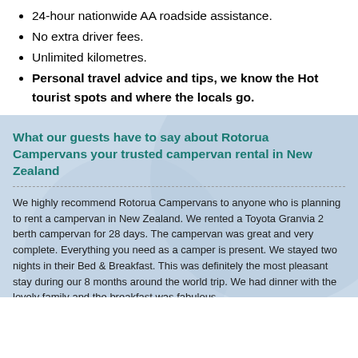24-hour nationwide AA roadside assistance.
No extra driver fees.
Unlimited kilometres.
Personal travel advice and tips, we know the Hot tourist spots and where the locals go.
What our guests have to say about Rotorua Campervans your trusted campervan rental in New Zealand
We highly recommend Rotorua Campervans to anyone who is planning to rent a campervan in New Zealand. We rented a Toyota Granvia 2 berth campervan for 28 days. The campervan was great and very complete. Everything you need as a camper is present. We stayed two nights in their Bed & Breakfast. This was definitely the most pleasant stay during our 8 months around the world trip. We had dinner with the lovely family and the breakfast was fabulous.